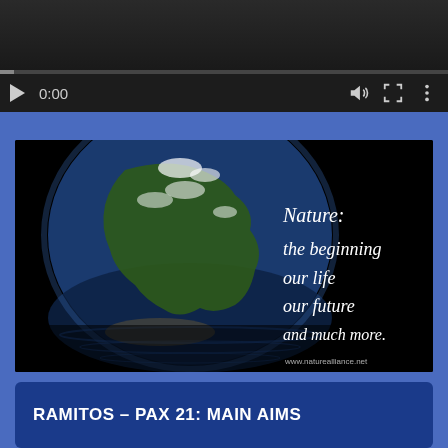[Figure (screenshot): Video player with dark background, play button, 0:00 timestamp, speaker icon, fullscreen icon, and vertical dots menu. Progress bar at bottom.]
[Figure (photo): Black background image showing Earth globe partially submerged in water with text overlay: 'Nature: the beginning our life our future and much more.' and website URL www.naturealliance.net]
RAMITOS – PAX 21: MAIN AIMS